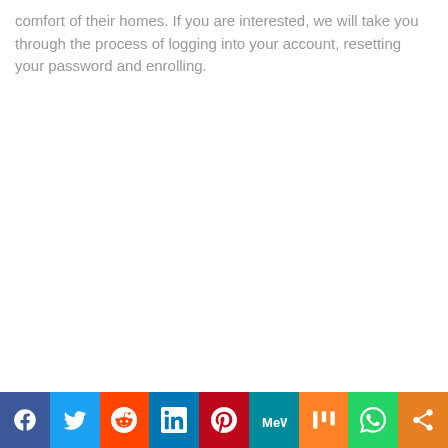comfort of their homes. If you are interested, we will take you through the process of logging into your account, resetting your password and enrolling.
[Figure (infographic): Social media sharing bar with icons for Facebook, Twitter, Reddit, LinkedIn, Pinterest, MeWe, Mix, WhatsApp, and a generic share button]